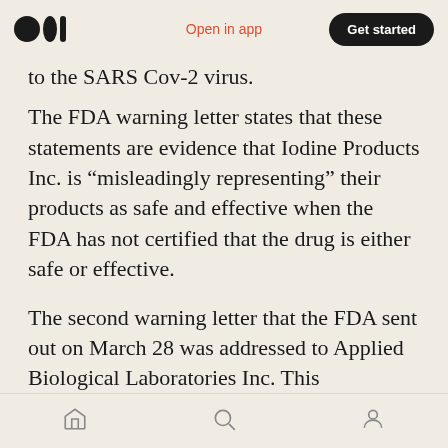Open in app | Get started
to the SARS Cov-2 virus.
The FDA warning letter states that these statements are evidence that Iodine Products Inc. is “misleadingly representing” their products as safe and effective when the FDA has not certified that the drug is either safe or effective.
The second warning letter that the FDA sent out on March 28 was addressed to Applied Biological Laboratories Inc. This manufacturer was accused of advertising their “Biovanta Dual Action Throat Spray” and “Biovanta Triple
Home | Search | Profile